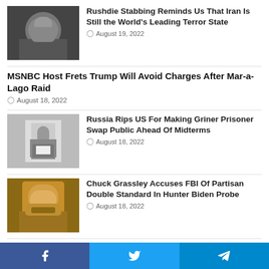[Figure (photo): Black and white portrait photo of a man]
Rushdie Stabbing Reminds Us That Iran Is Still the World's Leading Terror State
August 19, 2022
MSNBC Host Frets Trump Will Avoid Charges After Mar-a-Lago Raid
August 18, 2022
[Figure (photo): A woman holding a white sign, standing against a wall]
Russia Rips US For Making Griner Prisoner Swap Public Ahead Of Midterms
August 18, 2022
[Figure (photo): Older man with glasses speaking, Chuck Grassley]
Chuck Grassley Accuses FBI Of Partisan Double Standard In Hunter Biden Probe
August 18, 2022
[Figure (photo): A monkey with an open mouth]
One Of The Wokest School Districts Issues Monkeypox Guidelines
August 18, 2022